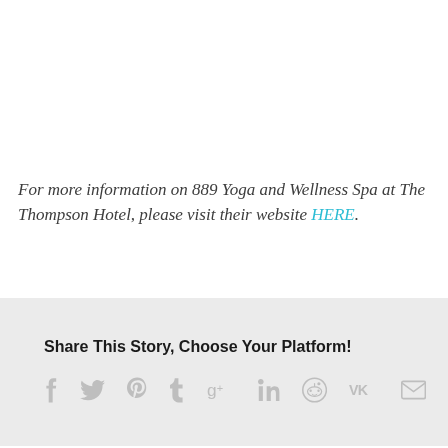For more information on 889 Yoga and Wellness Spa at The Thompson Hotel, please visit their website HERE.
Share This Story, Choose Your Platform!